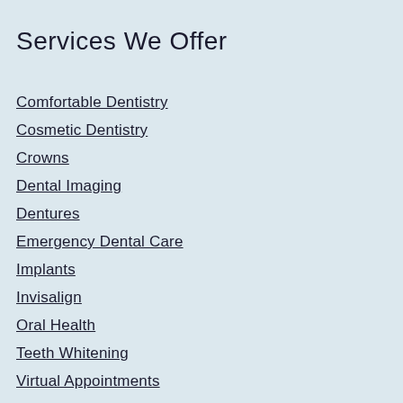Services We Offer
Comfortable Dentistry
Cosmetic Dentistry
Crowns
Dental Imaging
Dentures
Emergency Dental Care
Implants
Invisalign
Oral Health
Teeth Whitening
Virtual Appointments
TeleDentistry Consent
Endodontics